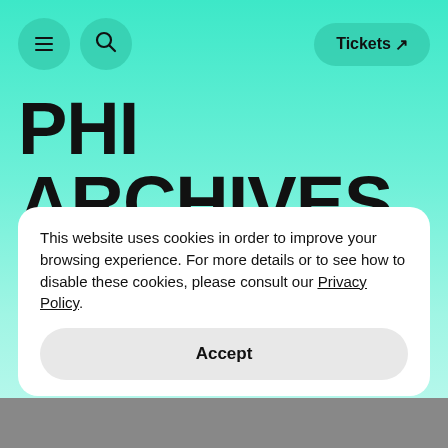≡  🔍  Tickets ↗
PHI ARCHIVES
This website uses cookies in order to improve your browsing experience. For more details or to see how to disable these cookies, please consult our Privacy Policy.
Accept
[Figure (photo): Bottom strip showing the beginning of a photo/image beneath the cookie banner]